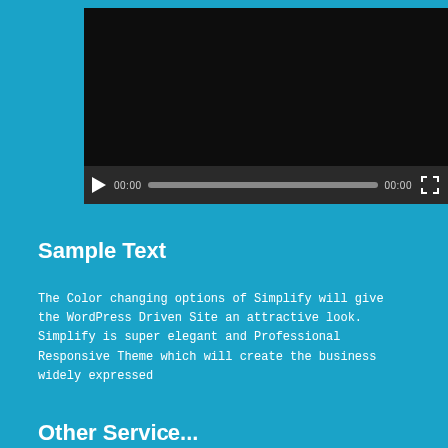[Figure (screenshot): Video player with black screen, play button, time display showing 00:00, progress bar, total time 00:00, and fullscreen button on dark control bar]
Sample Text
The Color changing options of Simplify will give the WordPress Driven Site an attractive look. Simplify is super elegant and Professional Responsive Theme which will create the business widely expressed
Other Servi...